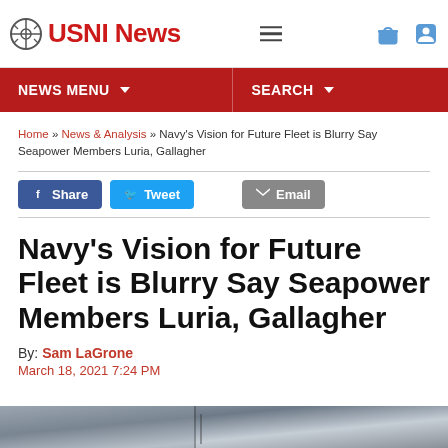USNI News
NEWS MENU | SEARCH
Home » News & Analysis » Navy's Vision for Future Fleet is Blurry Say Seapower Members Luria, Gallagher
Share  Tweet  Email
Navy's Vision for Future Fleet is Blurry Say Seapower Members Luria, Gallagher
By: Sam LaGrone
March 18, 2021 7:24 PM
[Figure (photo): Bottom portion of a photo, partially visible at the bottom of the page, showing a grey/silver abstract or naval scene]